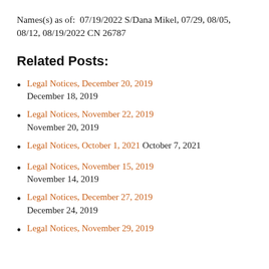Names(s) as of:  07/19/2022 S/Dana Mikel, 07/29, 08/05, 08/12, 08/19/2022 CN 26787
Related Posts:
Legal Notices, December 20, 2019
December 18, 2019
Legal Notices, November 22, 2019
November 20, 2019
Legal Notices, October 1, 2021 October 7, 2021
Legal Notices, November 15, 2019
November 14, 2019
Legal Notices, December 27, 2019
December 24, 2019
Legal Notices, November 29, 2019